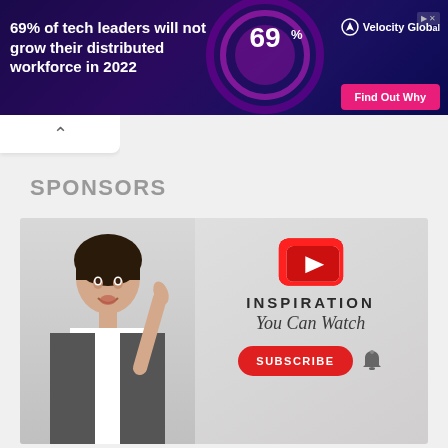[Figure (infographic): Ad banner: dark purple/navy background with text '69% of tech leaders will not grow their distributed workforce in 2022', a circular graphic showing '69%', Velocity Global logo, and a pink 'Find Out Why' button]
[Figure (other): Collapse/accordion up-arrow tab below the ad banner]
SPONSORS
[Figure (infographic): Sponsor ad: woman in business suit pointing up on left side, YouTube logo icon, text 'INSPIRATION You Can Watch', red SUBSCRIBE button with bell icon]